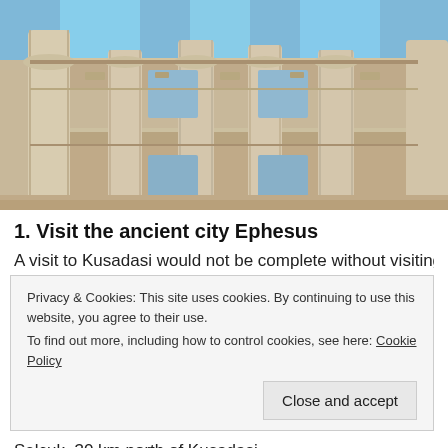[Figure (photo): Upward-angle photograph of the ruins of the Library of Celsus at Ephesus, showing elaborate stone columns, carved facades, and blue sky.]
1. Visit the ancient city Ephesus
A visit to Kusadasi would not be complete without visiting
Privacy & Cookies: This site uses cookies. By continuing to use this website, you agree to their use.
To find out more, including how to control cookies, see here: Cookie Policy
Close and accept
Selcuk, 30 km north of Kusadasi